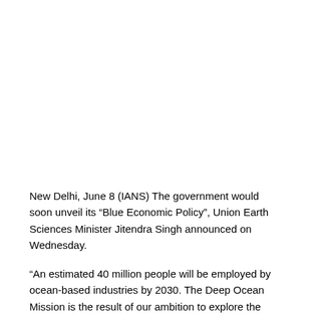New Delhi, June 8 (IANS) The government would soon unveil its “Blue Economic Policy”, Union Earth Sciences Minister Jitendra Singh announced on Wednesday.
“An estimated 40 million people will be employed by ocean-based industries by 2030. The Deep Ocean Mission is the result of our ambition to explore the unlimited possibilities of the ocean. The mineral wealth which is hidden